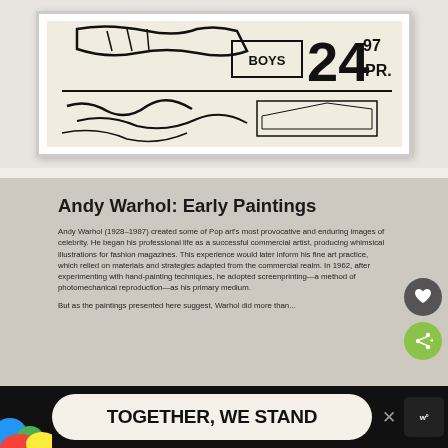[Figure (photo): Museum wall photo showing a framed Andy Warhol artwork on a light beige gallery wall. The artwork features bold black graphic design with the text 'BOYS', '24', and 'PR.' in a commercial advertisement style, with black sketchy marks at the bottom.]
Andy Warhol: Early Paintings
Andy Warhol (1928–1987) created some of Pop art's most provocative and enduring images of celebrity. He began his professional life as a successful commercial artist, producing whimsical illustrations for fashion magazines. This experience would later inform his fine art practice, which relied on materials and strategies adapted from the commercial realm. In 1962, after experimenting with hand-painting techniques, he adopted screenprinting—a method of photomechanical reproduction—as his primary medium.
But as the paintings presented here suggest, Warhol did more than...
[Figure (photo): Advertisement banner at bottom of screen: colorful graphic on left with blue, green, red, yellow shapes; white rounded rectangle with bold black text 'TOGETHER, WE STAND'; close button X; Wealthsimple logo on right]